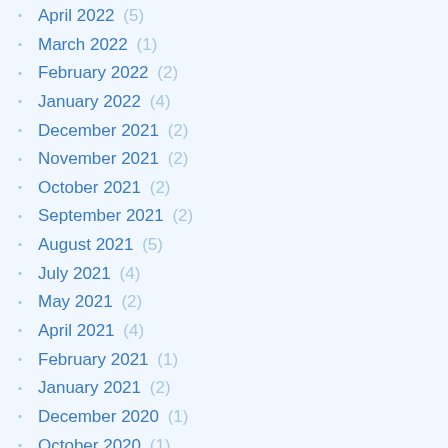April 2022 (5)
March 2022 (1)
February 2022 (2)
January 2022 (4)
December 2021 (2)
November 2021 (2)
October 2021 (2)
September 2021 (2)
August 2021 (5)
July 2021 (4)
May 2021 (2)
April 2021 (4)
February 2021 (1)
January 2021 (2)
December 2020 (1)
October 2020 (1)
September 2020 (1)
August 2020 (2)
June 2020 (1)
May 2020 (1)